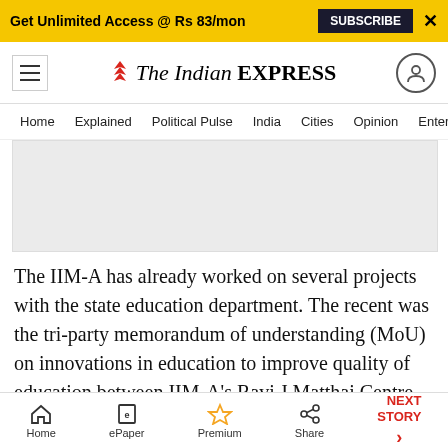Get Unlimited Access @ Rs 83/mon SUBSCRIBE X
[Figure (logo): The Indian Express logo with hamburger menu and user icon]
Home Explained Political Pulse India Cities Opinion Entertainment
[Figure (other): Advertisement placeholder (grey box)]
The IIM-A has already worked on several projects with the state education department. The recent was the tri-party memorandum of understanding (MoU) on innovations in education to improve quality of education between IIM-A's Ravi J Matthai Centre For Educational Innovation (RJMCEI-IIMA) headed by Vijaya Sherry Chand,
Home ePaper Premium Share NEXT STORY →